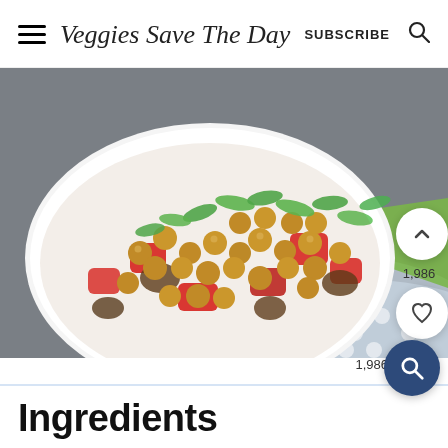Veggies Save The Day — SUBSCRIBE (search icon)
[Figure (photo): Overhead close-up photo of a white bowl filled with a vegetable stir-fry: chickpeas, red bell peppers, mushrooms, and sliced green onions on a gray and white polka-dot cloth napkin with a green napkin, on a gray surface.]
1,986
Ingredients